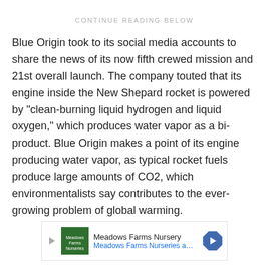CONTINUE READING BELOW
Blue Origin took to its social media accounts to share the news of its now fifth crewed mission and 21st overall launch. The company touted that its engine inside the New Shepard rocket is powered by "clean-burning liquid hydrogen and liquid oxygen," which produces water vapor as a bi-product. Blue Origin makes a point of its engine producing water vapor, as typical rocket fuels produce large amounts of CO2, which environmentalists say contributes to the ever-growing problem of global warming.
[Figure (other): Advertisement banner for Meadows Farms Nursery with logo, text 'Meadows Farms Nurseries and Landsc...' and navigation arrow icon]